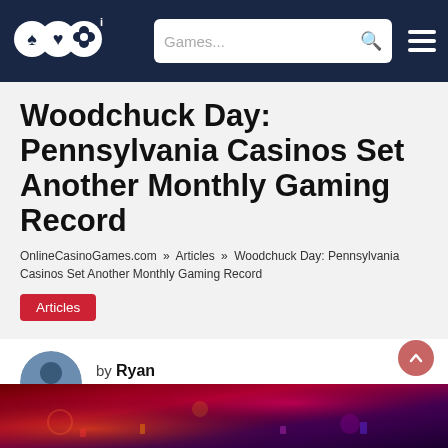OCG logo | Games... search | menu
Woodchuck Day: Pennsylvania Casinos Set Another Monthly Gaming Record
OnlineCasinoGames.com » Articles » Woodchuck Day: Pennsylvania Casinos Set Another Monthly Gaming Record
Articles
by Ryan
November 18, 2021
[Figure (photo): Casino gaming table with colorful lights, red and purple tones]